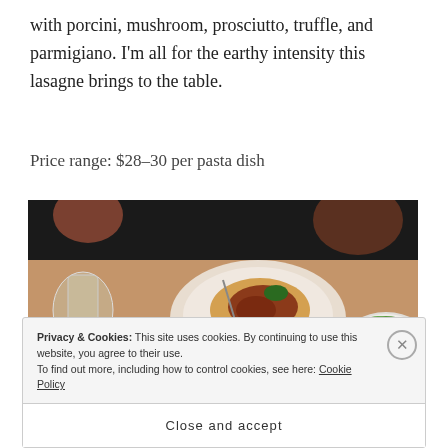with porcini, mushroom, prosciutto, truffle, and parmigiano. I'm all for the earthy intensity this lasagne brings to the table.
Price range: $28–30 per pasta dish
[Figure (photo): Restaurant table with multiple dishes including a bowl of pasta with meat sauce, a bowl of green beans with serving tongs, a bowl of salad, glasses, and a glass of red wine on a wooden table.]
Privacy & Cookies: This site uses cookies. By continuing to use this website, you agree to their use.
To find out more, including how to control cookies, see here: Cookie Policy
Close and accept